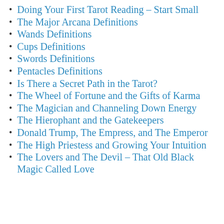Doing Your First Tarot Reading – Start Small
The Major Arcana Definitions
Wands Definitions
Cups Definitions
Swords Definitions
Pentacles Definitions
Is There a Secret Path in the Tarot?
The Wheel of Fortune and the Gifts of Karma
The Magician and Channeling Down Energy
The Hierophant and the Gatekeepers
Donald Trump, The Empress, and The Emperor
The High Priestess and Growing Your Intuition
The Lovers and The Devil – That Old Black Magic Called Love